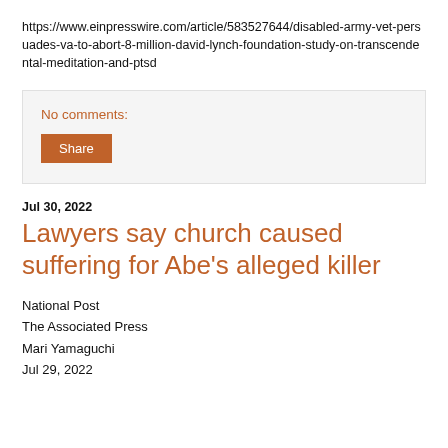https://www.einpresswire.com/article/583527644/disabled-army-vet-persuades-va-to-abort-8-million-david-lynch-foundation-study-on-transcendental-meditation-and-ptsd
No comments:
Share
Jul 30, 2022
Lawyers say church caused suffering for Abe's alleged killer
National Post
The Associated Press
Mari Yamaguchi
Jul 29, 2022